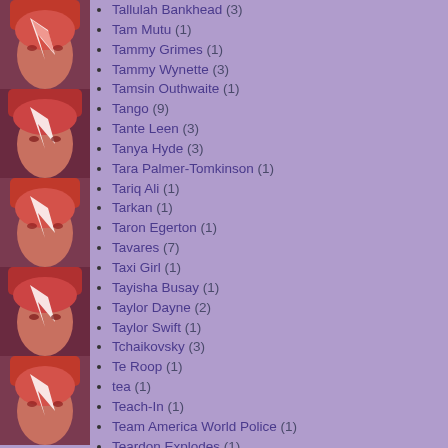Tallulah Bankhead (3)
Tam Mutu (1)
Tammy Grimes (1)
Tammy Wynette (3)
Tamsin Outhwaite (1)
Tango (9)
Tante Leen (3)
Tanya Hyde (3)
Tara Palmer-Tomkinson (1)
Tariq Ali (1)
Tarkan (1)
Taron Egerton (1)
Tavares (7)
Taxi Girl (1)
Tayisha Busay (1)
Taylor Dayne (2)
Taylor Swift (1)
Tchaikovsky (3)
Te Roop (1)
tea (1)
Teach-In (1)
Team America World Police (1)
Teardon Explodes (1)